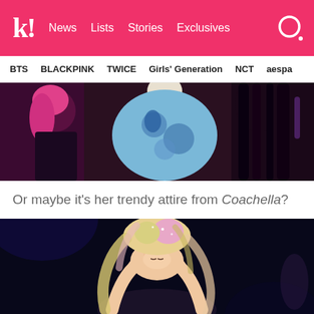k! News Lists Stories Exclusives
BTS BLACKPINK TWICE Girls' Generation NCT aespa
[Figure (photo): K-pop performers on stage, one with pink hair on the left, another in a blue patterned outfit in center, dark hair on right]
Or maybe it's her trendy attire from Coachella?
[Figure (photo): K-pop female artist with blonde/pink hair, eyes closed, hands covering face/mouth, on dark stage background]